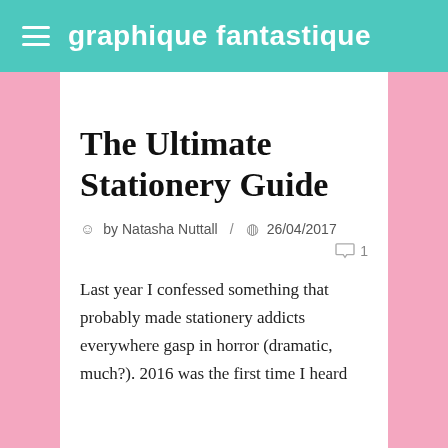graphique fantastique
The Ultimate Stationery Guide
by Natasha Nuttall / 26/04/2017
1
Last year I confessed something that probably made stationery addicts everywhere gasp in horror (dramatic, much?). 2016 was the first time I heard